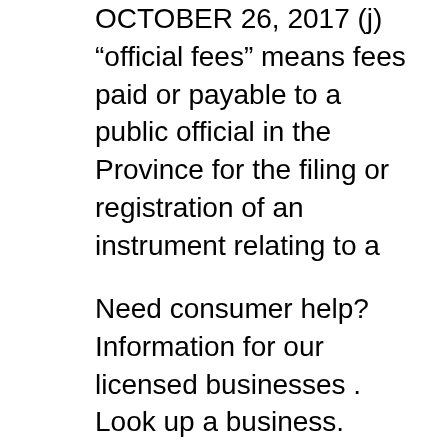OCTOBER 26, 2017 (j) “official fees” means fees paid or payable to a public official in the Province for the filing or registration of an instrument relating to a
Need consumer help? Information for our licensed businesses . Look up a business. Trying to return a car? Getting collection calls? Got a taxi complaint? File a claim with the Travel Assurance Fund. Sign up to get tips & alerts Recent consumer tips. We asked, you answered. The results of our 2017 Facebook community survey. My experience claiming compensation after a cancelled flight in Europe The Province is taking action to regulate the